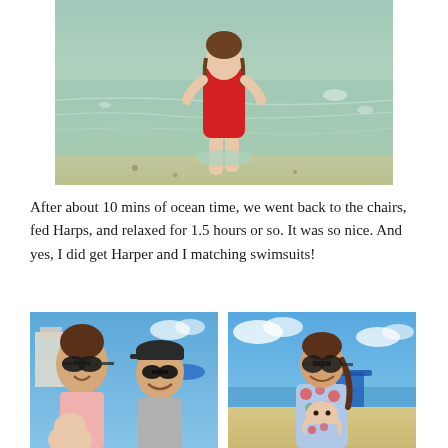[Figure (photo): A young child in a red swimsuit standing in shallow ocean water at the beach, water swirling around their legs, photographed from behind/above.]
After about 10 mins of ocean time, we went back to the chairs, fed Harps, and relaxed for 1.5 hours or so. It was so nice. And yes, I did get Harper and I matching swimsuits!
[Figure (photo): Selfie of a woman with large sunglasses smiling with a man in a baseball cap and sunglasses, a baby in the foreground, on a beach with blue sky.]
[Figure (photo): A woman with braided hair wearing sunglasses holding a baby at the beach, both wearing matching floral/watermelon print swimsuits, blue sky and ocean in background.]